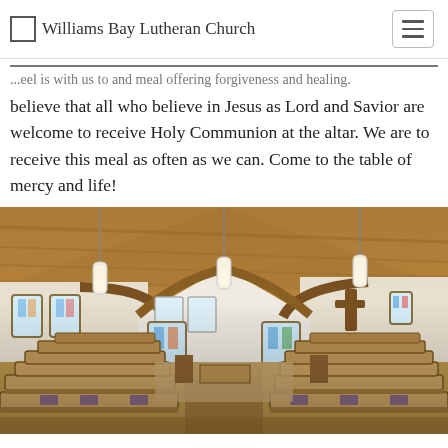Williams Bay Lutheran Church
...eel is with us to and meal offering forgiveness and healing. We believe that all who believe in Jesus as Lord and Savior are welcome to receive Holy Communion at the altar. We are to receive this meal as often as we can. Come to the table of mercy and life!
[Figure (photo): Interior of Williams Bay Lutheran Church sanctuary showing rows of wooden pews, vaulted wooden ceiling with pendant lights, stained glass windows on the sides and back, and a cross on the altar wall.]